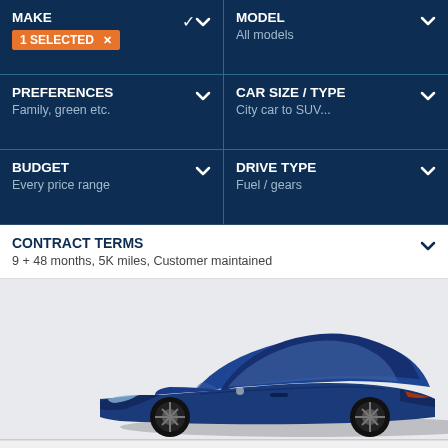MAKE
1 SELECTED
MODEL
All models
PREFERENCES
Family, green etc.
CAR SIZE / TYPE
City car to SUV...
BUDGET
Every price range
DRIVE TYPE
Fuel / gears
CONTRACT TERMS
9 + 48 months, 5K miles, Customer maintained
[Figure (photo): Blue Porsche Taycan sports car viewed from front-left angle]
We use cookies to make the website work as well as possible and improve our services.
ACCEPT COOKIES
Managing cookies